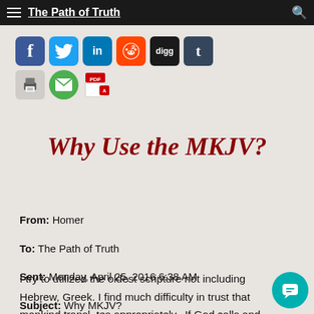The Path of Truth
[Figure (other): Social media sharing buttons: Facebook, Twitter, LinkedIn, Reddit, Digg, Tumblr, Print, Email, PDF]
Why Use the MKJV?
From: Homer
To: The Path of Truth
Sent: Monday, April 25, 2016 6:38 AM
Subject: Why MKJV?
I try to utilized the oldest scripture not including Hebrew, Greek. I find much difficulty in trust that mankind translates appropriately.  If God calls and chooses what is the Debate